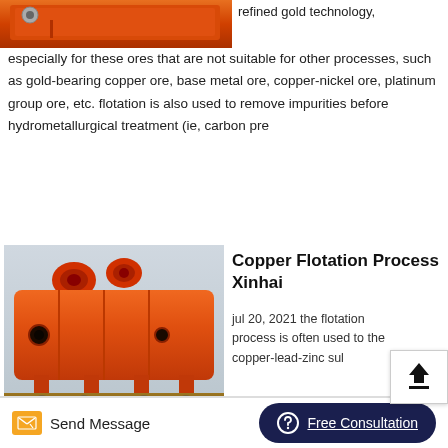[Figure (photo): Partial view of an orange industrial machine/equipment at the top left corner]
refined gold technology, especially for these ores that are not suitable for other processes, such as gold-bearing copper ore, base metal ore, copper-nickel ore, platinum group ore, etc. flotation is also used to remove impurities before hydrometallurgical treatment (ie, carbon pre
[Figure (photo): Large orange flotation machine loaded on a truck]
Copper Flotation Process Xinhai
jul 20, 2021 the flotation process is often used to the copper-lead-zinc sul ores whose various useful minerals have the significant difference in floatability. because of its own complex
Send Message    Free Consultation